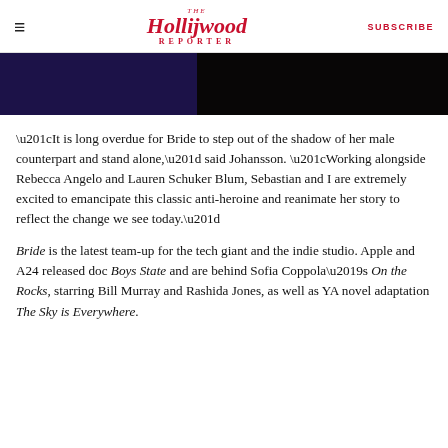THE Hollywood REPORTER | SUBSCRIBE
[Figure (photo): Dark banner image split into two sections: left side dark purple/indigo, right side near black]
“It is long overdue for Bride to step out of the shadow of her male counterpart and stand alone,” said Johansson. “Working alongside Rebecca Angelo and Lauren Schuker Blum, Sebastian and I are extremely excited to emancipate this classic anti-heroine and reanimate her story to reflect the change we see today.”
Bride is the latest team-up for the tech giant and the indie studio. Apple and A24 released doc Boys State and are behind Sofia Coppola’s On the Rocks, starring Bill Murray and Rashida Jones, as well as YA novel adaptation The Sky is Everywhere.